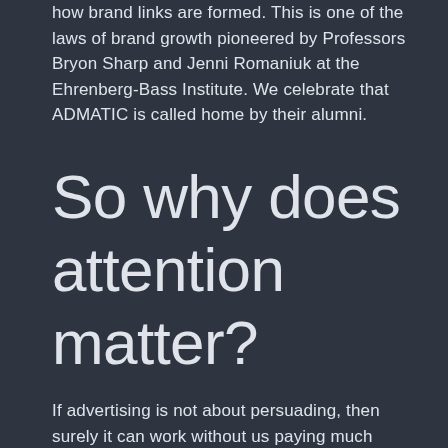how brand links are formed. This is one of the laws of brand growth pioneered by Professors Bryon Sharp and Jenni Romaniuk at the Ehrenberg-Bass Institute. We celebrate that ADMATIC is called home by their alumni.
So why does attention matter?
If advertising is not about persuading, then surely it can work without us paying much attention to it at all, right? Well, sort of...